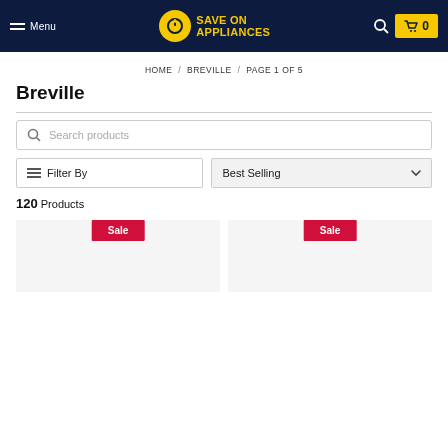Menu | SAVE ON APPLIANCES | 0
HOME / BREVILLE / PAGE 1 OF 5
Breville
Search products
Filter By | Best Selling
120 Products
[Figure (screenshot): Two product card placeholders with red Sale badges]
Sale
Sale